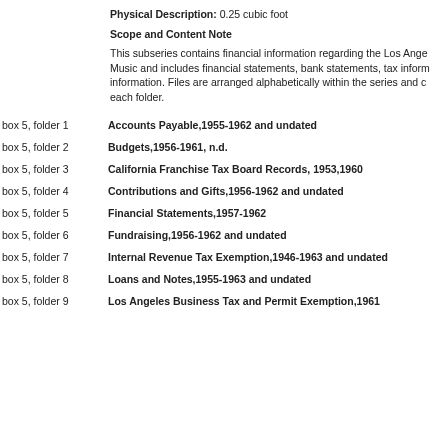Physical Description: 0.25 cubic foot
Scope and Content Note
This subseries contains financial information regarding the Los Angeles Music and includes financial statements, bank statements, tax information. Files are arranged alphabetically within the series and each folder.
box 5, folder 1 — Accounts Payable,1955-1962 and undated
box 5, folder 2 — Budgets,1956-1961, n.d.
box 5, folder 3 — California Franchise Tax Board Records, 1953,1960
box 5, folder 4 — Contributions and Gifts,1956-1962 and undated
box 5, folder 5 — Financial Statements,1957-1962
box 5, folder 6 — Fundraising,1956-1962 and undated
box 5, folder 7 — Internal Revenue Tax Exemption,1946-1963 and undated
box 5, folder 8 — Loans and Notes,1955-1963 and undated
box 5, folder 9 — Los Angeles Business Tax and Permit Exemption,1961